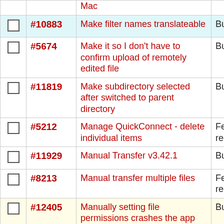|  | ID | Description |  | Type | Priority |
| --- | --- | --- | --- | --- | --- |
|  | #10883 | Make filter names translateable |  | Bug report | low |
|  | #5674 | Make it so I don't have to confirm upload of remotely edited file |  | Bug report | nor |
|  | #11819 | Make subdirectory selected after switched to parent directory |  | Bug report | nor |
|  | #5212 | Manage QuickConnect - delete individual items |  | Feature request | nor |
|  | #11929 | Manual Transfer v3.42.1 |  | Bug report | nor |
|  | #8213 | Manual transfer multiple files |  | Feature request | nor |
|  | #12405 | Manually setting file permissions crashes the app |  | Bug report | hig |
|  | #8292 | Many interface... |  | Bug | nor |